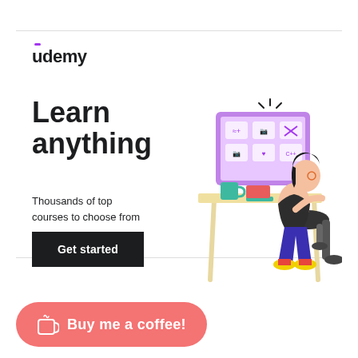[Figure (illustration): Udemy advertisement banner with logo, headline 'Learn anything', subtext 'Thousands of top courses to choose from', black 'Get started' button, and illustration of a woman sitting at a desk with a computer showing course icons]
[Figure (illustration): Buy me a coffee button with cup icon and text 'Buy me a coffee!']